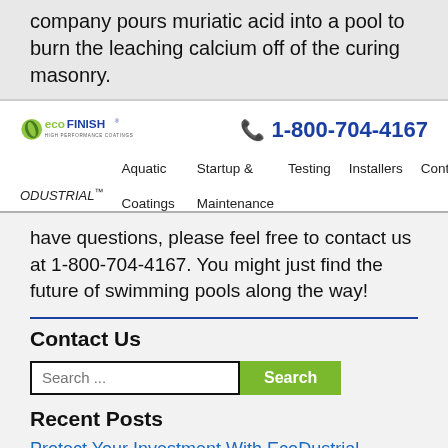company pours muriatic acid into a pool to burn the leaching calcium off of the curing masonry.
[Figure (logo): ecoFINISH HIGH PERFORMANCE COATINGS logo with green leaf icon]
1-800-704-4167
Aquatic Coatings   Startup & Maintenance   ECODUSTRIAL™   Testing   Installers   Contact
have questions, please feel free to contact us at 1-800-704-4167. You might just find the future of swimming pools along the way!
Contact Us
Recent Posts
Protect Your Investment With EcoDustrial